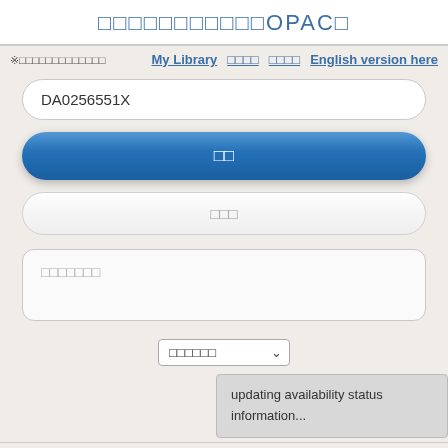□□□□□□□□□□□OPAC□
※□□□□□□□□□□□□□□
My Library　□□□□　□□□□　English version here
DA0256551X
□□
□□□
□□□□□□□
□□□□□□
updating availability status information...
□□□□□□